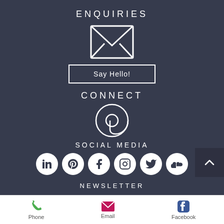ENQUIRIES
[Figure (illustration): White envelope/mail icon outline on dark background]
Say Hello!
CONNECT
[Figure (illustration): Large @ symbol in white on dark background]
SOCIAL MEDIA
[Figure (illustration): Row of social media icons: LinkedIn, Pinterest, Facebook, Instagram, Twitter, SoundCloud]
NEWSLETTER
Phone
Email
Facebook